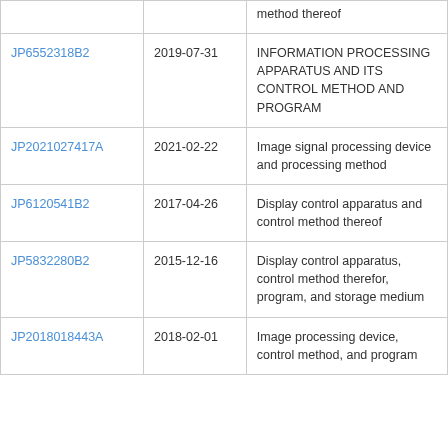| Publication | Date | Title |
| --- | --- | --- |
|  |  | method thereof |
| JP6552318B2 | 2019-07-31 | INFORMATION PROCESSING APPARATUS AND ITS CONTROL METHOD AND PROGRAM |
| JP2021027417A | 2021-02-22 | Image signal processing device and processing method |
| JP6120541B2 | 2017-04-26 | Display control apparatus and control method thereof |
| JP5832280B2 | 2015-12-16 | Display control apparatus, control method therefor, program, and storage medium |
| JP2018018443A | 2018-02-01 | Image processing device, control method, and program |